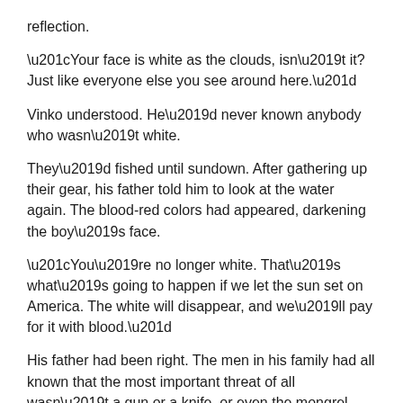reflection.
“Your face is white as the clouds, isn’t it? Just like everyone else you see around here.”
Vinko understood. He’d never known anybody who wasn’t white.
They’d fished until sundown. After gathering up their gear, his father told him to look at the water again. The blood-red colors had appeared, darkening the boy’s face.
“You’re no longer white. That’s what’s going to happen if we let the sun set on America. The white will disappear, and we’ll pay for it with blood.”
His father had been right. The men in his family had all known that the most important threat of all wasn’t a gun or a knife, or even the mongrel races raging to get everything that belonged to whites. But it was all about blood.